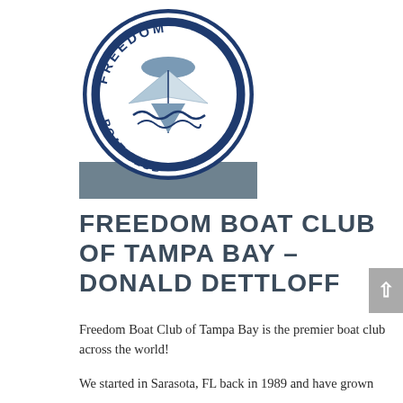[Figure (logo): Freedom Boat Club logo — circular dark navy blue badge with 'FREEDOM' at top arc, 'BOAT CLUB' at bottom arc, and a stylized sailboat/keel graphic in the center with decorative wave elements]
FREEDOM BOAT CLUB OF TAMPA BAY – DONALD DETTLOFF
Freedom Boat Club of Tampa Bay is the premier boat club across the world!
We started in Sarasota, FL back in 1989 and have grown